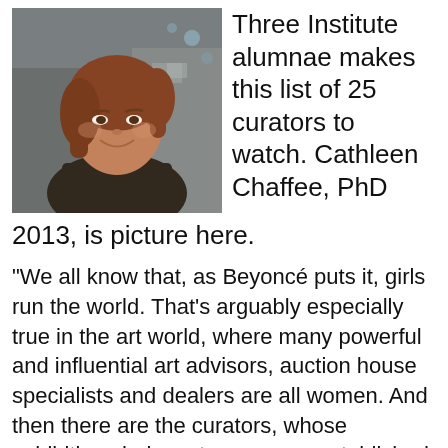[Figure (photo): Headshot of a woman with auburn hair smiling, photographed outdoors with a blurred street background]
Three Institute alumnae makes this list of 25 curators to watch. Cathleen Chaffee, PhD 2013, is picture here.
"We all know that, as Beyoncé puts it, girls run the world. That's arguably especially true in the art world, where many powerful and influential art advisors, auction house specialists and dealers are all women. And then there are the curators, whose exhibitions help us to reassess established figures or bring new ones to light. Curators help build museum collections, or